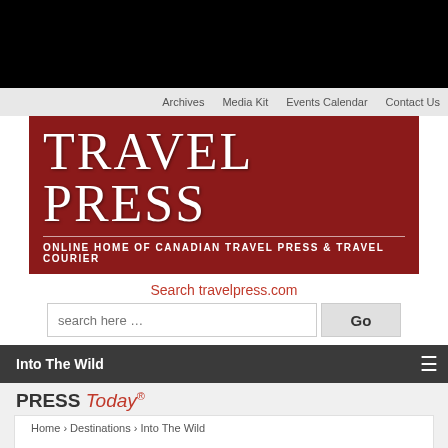[Figure (screenshot): Black top bar]
Archives | Media Kit | Events Calendar | Contact Us
[Figure (logo): Travel Press logo — red background with white serif text TRAVEL PRESS and subtitle ONLINE HOME OF CANADIAN TRAVEL PRESS & TRAVEL COURIER]
Search travelpress.com
search here …   Go
Into The Wild
PRESS Today ®
Home › Destinations › Into The Wild
Into The Wild
Goway Expands Zambia Portfolio